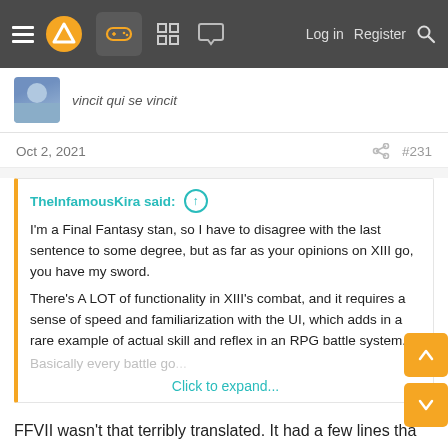≡ [logo] [gamepad icon] [grid icon] [chat icon]   Log in   Register   🔍
vincit qui se vincit
Oct 2, 2021   [share]   #231
TheInfamousKira said: ↑

I'm a Final Fantasy stan, so I have to disagree with the last sentence to some degree, but as far as your opinions on XIII go, you have my sword.

There's A LOT of functionality in XIII's combat, and it requires a sense of speed and familiarization with the UI, which adds in a rare example of actual skill and reflex in an RPG battle system. Basically every battle go... [Click to expand...]
FFVII wasn't that terribly translated. It had a few lines that were still easily readable and clearly were not an issue to follow even for kids.
FF13 purposefully hides important story content behind a